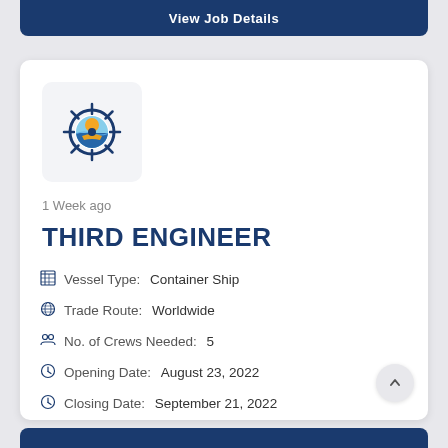View Job Details
[Figure (logo): Ship steering wheel logo with a vessel inside, circular nautical emblem in blue, orange and white]
1 Week ago
THIRD ENGINEER
Vessel Type: Container Ship
Trade Route: Worldwide
No. of Crews Needed: 5
Opening Date: August 23, 2022
Closing Date: September 21, 2022